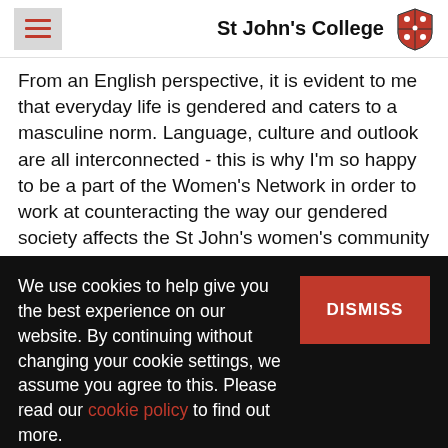St John's College
From an English perspective, it is evident to me that everyday life is gendered and caters to a masculine norm. Language, culture and outlook are all interconnected - this is why I'm so happy to be a part of the Women's Network in order to work at counteracting the way our gendered society affects the St John's women's community
We use cookies to help give you the best experience on our website. By continuing without changing your cookie settings, we assume you agree to this. Please read our cookie policy to find out more.